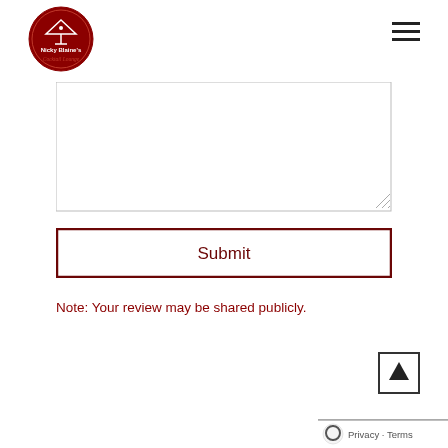[Figure (logo): Nicky Blaine's Cocktail Lounge circular logo — dark red circle with martini glass and text]
[Figure (other): Hamburger menu icon — three horizontal lines]
[Figure (other): Text area input field (empty, resizable)]
[Figure (other): Submit button with dark red border]
Note: Your review may be shared publicly.
[Figure (other): Back to top button with upward arrow]
[Figure (other): Privacy - Terms footer bar with reCAPTCHA logo]